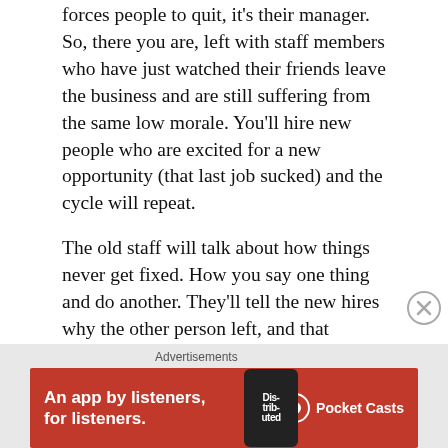forces people to quit, it's their manager. So, there you are, left with staff members who have just watched their friends leave the business and are still suffering from the same low morale. You'll hire new people who are excited for a new opportunity (that last job sucked) and the cycle will repeat.
The old staff will talk about how things never get fixed. How you say one thing and do another. They'll tell the new hires why the other person left, and that they're considering finding another job themselves. All because you haven't learned from yourself. Until you do, it'll continue this way.
Good leaders, on the other hand, reflect. They look at their lives and, instead of complaining, learn how to coach themselves. They learn how to lead themselves out of their negative attitudes. They learn how to motivate themselves
Advertisements
[Figure (infographic): Pocket Casts advertisement banner with red background, text 'An app by listeners, for listeners.' and Pocket Casts logo on the right, with a phone image showing a podcast app]